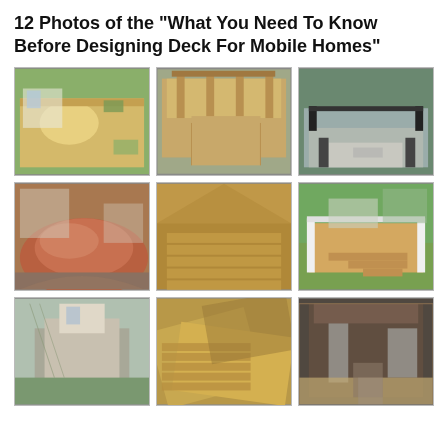12 Photos of the "What You Need To Know Before Designing Deck For Mobile Homes"
[Figure (photo): Overhead view of a multi-level wooden deck with circular seating area, surrounded by garden landscaping]
[Figure (photo): Two-story wooden deck with staircase and railing, attached to a house]
[Figure (photo): Low ground-level deck with black metal railing and lattice panels, with steps]
[Figure (photo): Curved multi-level deck with reddish-brown composite decking and white railing]
[Figure (photo): Close-up of natural wood deck planks at a corner angle]
[Figure (photo): Elevated deck with white railing and wide wooden steps leading to a yard]
[Figure (photo): Small mobile home with a front wooden deck and ramp, bare trees in background]
[Figure (photo): Angled overhead view of wooden deck planks being constructed or installed]
[Figure (photo): Covered porch/deck on a dark-sided mobile home with chairs and pergola]